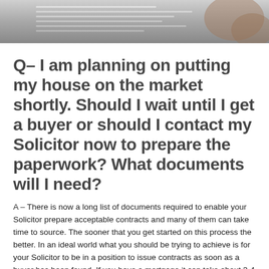[Figure (photo): Photograph of a person's hands holding or signing a document/paper on a desk, partially cropped at top.]
Q– I am planning on putting my house on the market shortly. Should I wait until I get a buyer or should I contact my Solicitor now to prepare the paperwork? What documents will I need?
A – There is now a long list of documents required to enable your Solicitor prepare acceptable contracts and many of them can take time to source. The sooner that you get started on this process the better. In an ideal world what you should be trying to achieve is for your Solicitor to be in a position to issue contracts as soon as a buyer has been found. If you have a mortgage it can take about 3-4